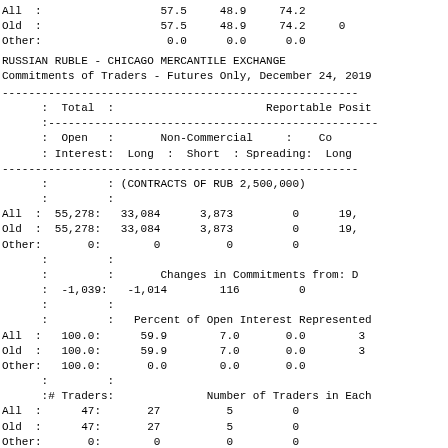|  | Total / Open Interest | Non-Commercial Long | Non-Commercial Short | Non-Commercial Spreading | Commercial Long (partial) |
| --- | --- | --- | --- | --- | --- |
| All | 57.5 | 48.9 | 74.2 |  |
| Old | 57.5 | 48.9 | 74.2 | 0 |
| Other | 0.0 | 0.0 | 0.0 |  |
RUSSIAN RUBLE - CHICAGO MERCANTILE EXCHANGE
Commitments of Traders - Futures Only, December 24, 2019
|  | Total : Open Interest | Non-Commercial Long | Non-Commercial Short | Non-Commercial Spreading | Commercial Long |
| --- | --- | --- | --- | --- | --- |
|  | (CONTRACTS OF RUB 2,500,000) |  |  |  |  |
| All | 55,278 | 33,084 | 3,873 | 0 | 19, |
| Old | 55,278 | 33,084 | 3,873 | 0 | 19, |
| Other | 0 | 0 | 0 | 0 |  |
|  | Changes in Commitments from: D |  |  |  |  |
|  | -1,039 | -1,014 | 116 | 0 |  |
|  | Percent of Open Interest Represented |  |  |  |  |
| All | 100.0 | 59.9 | 7.0 | 0.0 | 3 |
| Old | 100.0 | 59.9 | 7.0 | 0.0 | 3 |
| Other | 100.0 | 0.0 | 0.0 | 0.0 |  |
|  | # Traders : Number of Traders in Each |  |  |  |  |
| All | 47 | 27 | 5 | 0 |  |
| Old | 47 | 27 | 5 | 0 |  |
| Other | 0 | 0 | 0 | 0 |  |